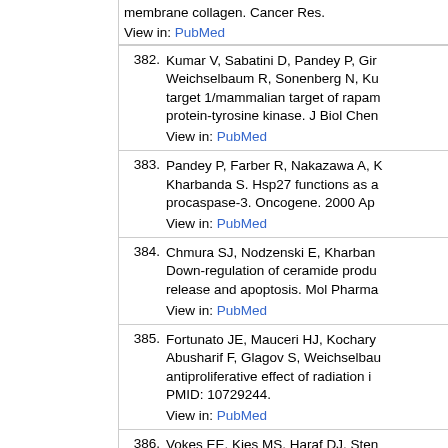membrane collagen. Cancer Res. [truncated]
View in: PubMed
382. Kumar V, Sabatini D, Pandey P, Gir[truncated] Weichselbaum R, Sonenberg N, Ku[truncated] target 1/mammalian target of rapam[truncated] protein-tyrosine kinase. J Biol Chem[truncated]
View in: PubMed
383. Pandey P, Farber R, Nakazawa A, K[truncated] Kharbanda S. Hsp27 functions as a[truncated] procaspase-3. Oncogene. 2000 Ap[truncated]
View in: PubMed
384. Chmura SJ, Nodzenski E, Kharban[truncated] Down-regulation of ceramide produ[truncated] release and apoptosis. Mol Pharma[truncated]
View in: PubMed
385. Fortunato JE, Mauceri HJ, Kochary[truncated] Abusharif F, Glagov S, Weichselbau[truncated] antiproliferative effect of radiation i[truncated] PMID: 10729244.
View in: PubMed
386. Vokes EE, Kies MS, Haraf DJ, Sten[truncated] Sulzen L, Witt ME, Hsieh YC, Mittal[truncated]